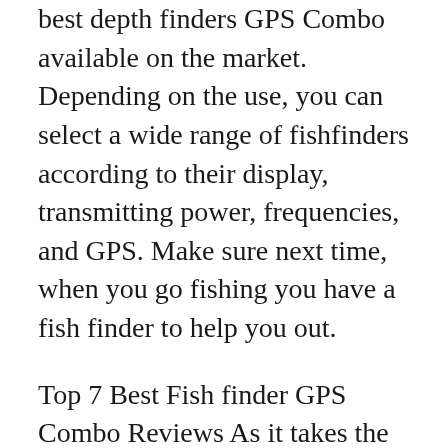best depth finders GPS Combo available on the market. Depending on the use, you can select a wide range of fishfinders according to their display, transmitting power, frequencies, and GPS. Make sure next time, when you go fishing you have a fish finder to help you out.
Top 7 Best Fish finder GPS Combo Reviews As it takes the time to extract all points in buying guide and search for the fish finder GPS Combo, here are the top Seven fishfinder GPS Combo which is selected based on the Qualities in buying guide, helps you can select one of the best one. 9-2-2019B B· This best Garmin fish finder GPS combo reviews will show you why the brand is in a class of its own and how it has managed to stay at the forefront of